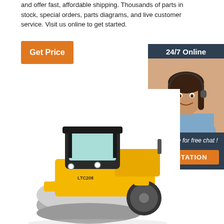and offer fast, affordable shipping. Thousands of parts in stock, special orders, parts diagrams, and live customer service. Visit us online to get started.
Get Price
[Figure (photo): Customer service representative wearing a headset, smiling, with '24/7 Online' header and 'Click here for free chat!' text and 'QUOTATION' button]
[Figure (photo): Yellow road roller construction machine (LTC208) with large steel drum roller in front]
24/7 Online
Click here for free chat !
QUOTATION